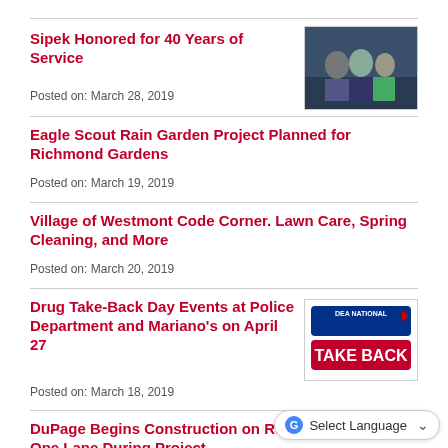Sipek Honored for 40 Years of Service
Posted on: March 28, 2019
[Figure (photo): Photo of people at an award ceremony]
Eagle Scout Rain Garden Project Planned for Richmond Gardens
Posted on: March 19, 2019
Village of Westmont Code Corner. Lawn Care, Spring Cleaning, and More
Posted on: March 20, 2019
Drug Take-Back Day Events at Police Department and Mariano’s on April 27
Posted on: March 18, 2019
[Figure (logo): DEA National Take Back logo]
DuPage Begins Construction on Road Reduced to One Lane During Project